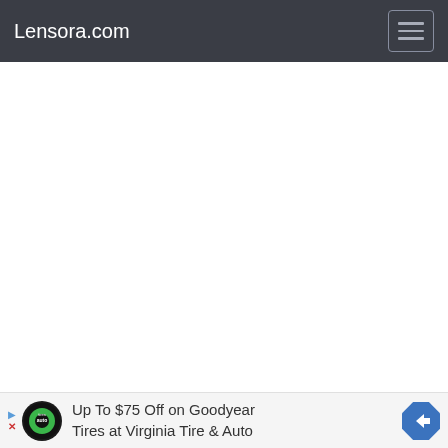Lensora.com
[Figure (screenshot): White blank main content area of a website]
[Figure (infographic): Advertisement banner: Up To $75 Off on Goodyear Tires at Virginia Tire & Auto, with Tires Auto logo and navigation arrow icon]